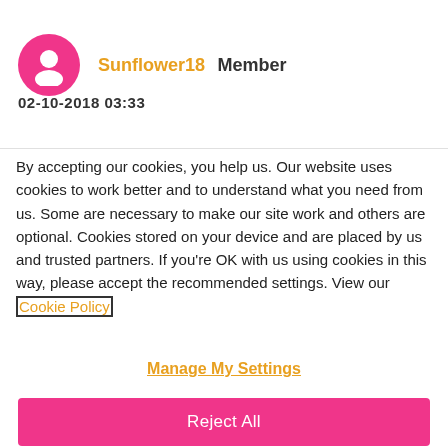[Figure (illustration): User avatar: pink circle with white face/head silhouette icon]
Sunflower18  Member
02-10-2018 03:33
By accepting our cookies, you help us. Our website uses cookies to work better and to understand what you need from us. Some are necessary to make our site work and others are optional. Cookies stored on your device and are placed by us and trusted partners. If you're OK with us using cookies in this way, please accept the recommended settings. View our Cookie Policy
Manage My Settings
Reject All
Accept All Cookies